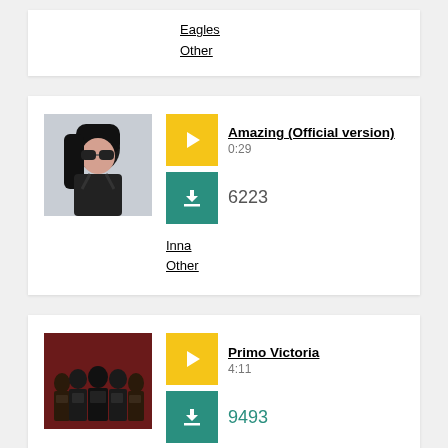Eagles
Other
[Figure (photo): Photo of Inna, woman with black hair and sunglasses]
Amazing (Official version)
0:29
6223
Inna
Other
[Figure (photo): Band photo of Sabaton members in dark clothing against red background]
Primo Victoria
4:11
9493
Sabato...